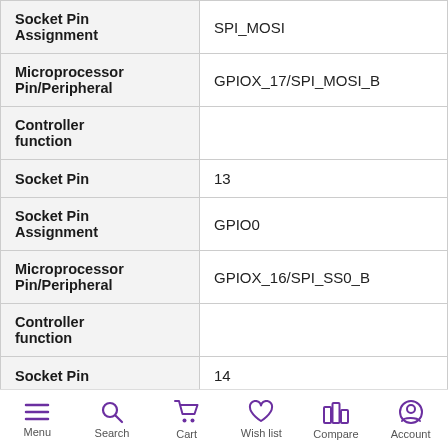| Property | Value |
| --- | --- |
| Socket Pin Assignment | SPI_MOSI |
| Microprocessor Pin/Peripheral | GPIOX_17/SPI_MOSI_B |
| Controller function |  |
| Socket Pin | 13 |
| Socket Pin Assignment | GPIO0 |
| Microprocessor Pin/Peripheral | GPIOX_16/SPI_SS0_B |
| Controller function |  |
| Socket Pin | 14 |
| Socket Pin Assignment | SPI_MISO |
Menu | Search | Cart | Wish list | Compare | Account